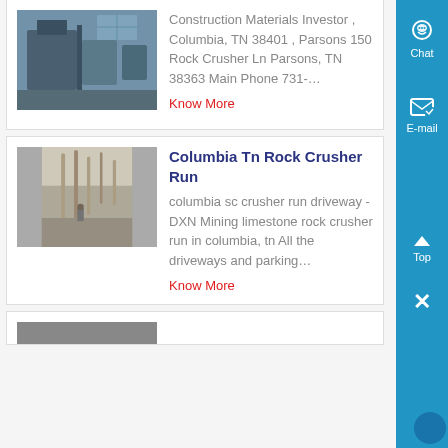[Figure (photo): Photo of industrial rock crusher machinery in a warehouse]
Construction Materials Investor , Columbia, TN 38401 , Parsons 150 Rock Crusher Ln Parsons, TN 38363 Main Phone 731-…
Know More
Columbia Tn Rock Crusher Run
[Figure (photo): Photo of industrial interior with machinery and dusty stone environment]
columbia sc crusher run driveway - DXN Mining limestone rock crusher run in columbia, tn All the driveways and parking…
Know More